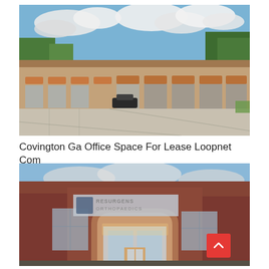[Figure (photo): Exterior photo of a commercial strip mall / retail center with tan/brick facade, multiple storefronts with awnings, large empty concrete parking lot in foreground, trees and cloudy sky in background.]
Covington Ga Office Space For Lease Loopnet Com
[Figure (photo): Exterior photo of a Resurgens Orthopaedics medical office building, brick construction, arched entrance with signage, illuminated interior visible through glass, evening/dusk lighting.]